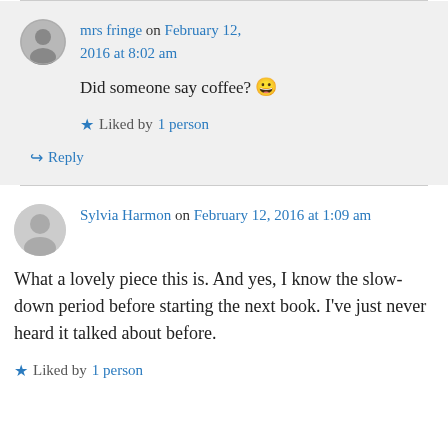mrs fringe on February 12, 2016 at 8:02 am
Did someone say coffee? 😀
Liked by 1 person
Reply
Sylvia Harmon on February 12, 2016 at 1:09 am
What a lovely piece this is. And yes, I know the slow-down period before starting the next book. I've just never heard it talked about before.
Liked by 1 person